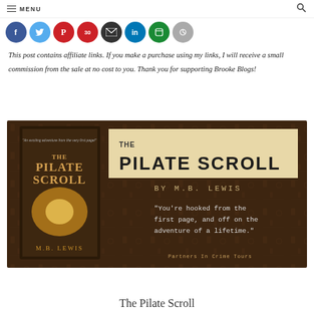MENU
[Figure (infographic): Social media share buttons: Facebook (blue), Twitter (light blue), Pinterest (red), another red button with number, Email (dark), LinkedIn (blue), another green/teal, and a grey button]
This post contains affiliate links. If you make a purchase using my links, I will receive a small commission from the sale at no cost to you. Thank you for supporting Brooke Blogs!
[Figure (illustration): Book cover promotional image for 'The Pilate Scroll' by M.B. Lewis on a dark brown ancient Egyptian hieroglyphic background. Left side shows a 3D book cover with glowing light and the title 'The Pilate Scroll' by M.B. Lewis. Right side shows title text 'THE PILATE SCROLL BY M.B. LEWIS' and a quote: "You're hooked from the first page, and off on the adventure of a lifetime." with 'Partners In Crime Tours' at bottom.]
The Pilate Scroll